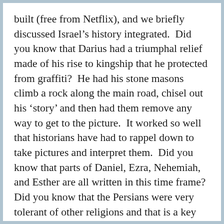built (free from Netflix), and we briefly discussed Israel's history integrated.  Did you know that Darius had a triumphal relief made of his rise to kingship that he protected from graffiti?  He had his stone masons climb a rock along the main road, chisel out his 'story' and then had them remove any way to get to the picture.  It worked so well that historians have had to rappel down to take pictures and interpret them.  Did you know that parts of Daniel, Ezra, Nehemiah, and Esther are all written in this time frame?  Did you know that the Persians were very tolerant of other religions and that is a key reason why the exiles were allowed to return and rebuild Jerusalem?  I just love the Tapestry of Grace interwoven history.  And my kids get it!!  How cool is that, right??